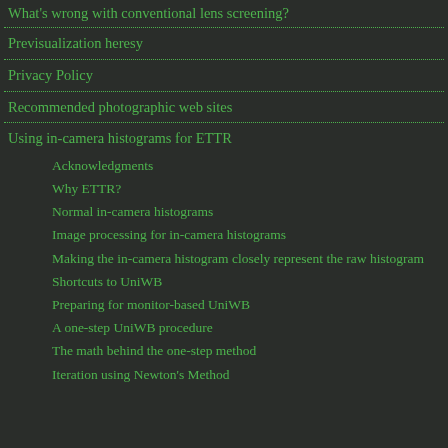What's wrong with conventional lens screening?
Previsualization heresy
Privacy Policy
Recommended photographic web sites
Using in-camera histograms for ETTR
Acknowledgments
Why ETTR?
Normal in-camera histograms
Image processing for in-camera histograms
Making the in-camera histogram closely represent the raw histogram
Shortcuts to UniWB
Preparing for monitor-based UniWB
A one-step UniWB procedure
The math behind the one-step method
Iteration using Newton's Method